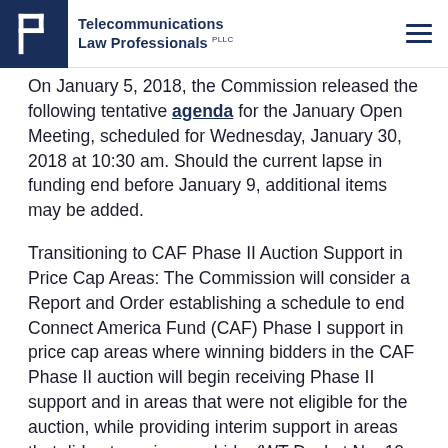Telecommunications Law Professionals PLLC
On January 5, 2018, the Commission released the following tentative agenda for the January Open Meeting, scheduled for Wednesday, January 30, 2018 at 10:30 am. Should the current lapse in funding end before January 9, additional items may be added.
Transitioning to CAF Phase II Auction Support in Price Cap Areas: The Commission will consider a Report and Order establishing a schedule to end Connect America Fund (CAF) Phase I support in price cap areas where winning bidders in the CAF Phase II auction will begin receiving Phase II support and in areas that were not eligible for the auction, while providing interim support in areas that did not receive any bids. (WT Docket No. 10-90) FCC FACT SHEET AND DRAFT